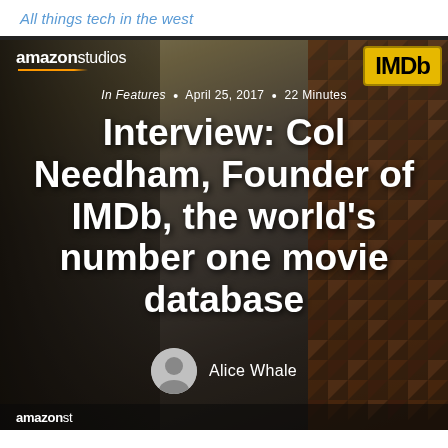All things tech in the west
[Figure (photo): Hero image of Col Needham at an Amazon Studios / IMDb event, holding a champagne glass and microphone, with triangular decorative pattern in background]
In Features • April 25, 2017 • 22 Minutes
Interview: Col Needham, Founder of IMDb, the world's number one movie database
Alice Whale